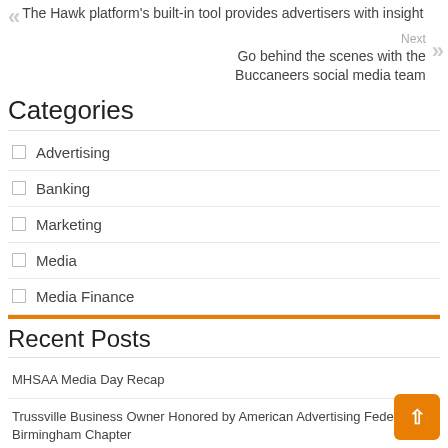The Hawk platform's built-in tool provides advertisers with insight
Next
Go behind the scenes with the Buccaneers social media team
Categories
Advertising
Banking
Marketing
Media
Media Finance
Recent Posts
MHSAA Media Day Recap
Trussville Business Owner Honored by American Advertising Federation, Birmingham Chapter